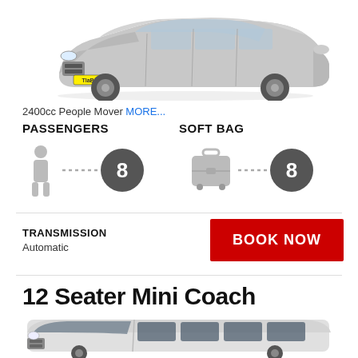[Figure (photo): Front view of a silver people mover car with a yellow number plate reading 'TlaB', showing the front grille, headlights, and wheels on a white background]
2400cc People Mover MORE...
PASSENGERS
SOFT BAG
[Figure (infographic): Person icon connected by dotted line to dark circle badge with number 8, representing 8 passengers]
[Figure (infographic): Suitcase/bag icon connected by dotted line to dark circle badge with number 8, representing 8 soft bags]
TRANSMISSION
Automatic
BOOK NOW
12 Seater Mini Coach
[Figure (photo): White high-roof van/mini coach shown from the front-side angle, with large windshield and dark windows on a white background]